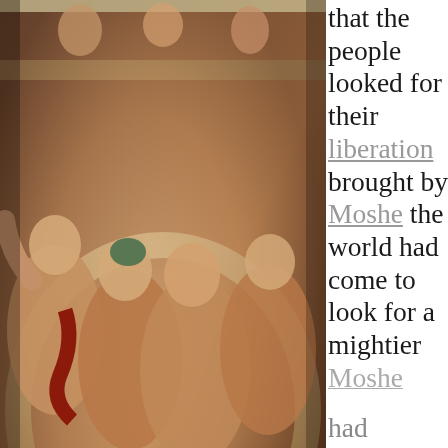[Figure (illustration): Detail of Michelangelo's Sistine Chapel ceiling fresco showing figures in dramatic poses, warm Renaissance colors]
that the people looked for their liberation brought by Moshe the world had come to look for a mightier Moshe
Privacy & Cookies: This site uses cookies. By continuing to use this website, you agree to their use.
To find out more, including how to control cookies, see here: Cookie Policy
Close and accept
had